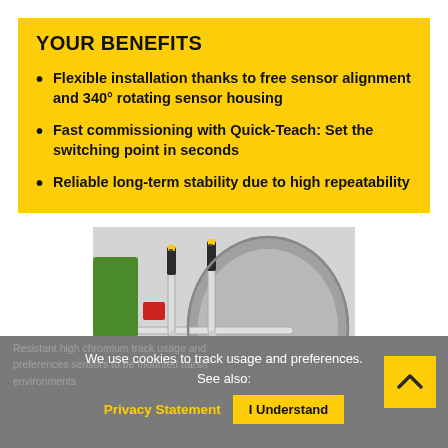YOUR BENEFITS
Flexible installation thanks to free sensor alignment and 340° rotating sensor housing
Fast commissioning with Quick-Teach: Set the switching point in seconds
Reliable long-term stability due to high repeatability
[Figure (photo): Industrial sensors mounted on metal pipes above a large circular industrial container, showing two stick-like sensor devices with black and yellow markings attached to a metal rail structure.]
We use cookies to track usage and preferences. See also:
Privacy Statement | I Understand